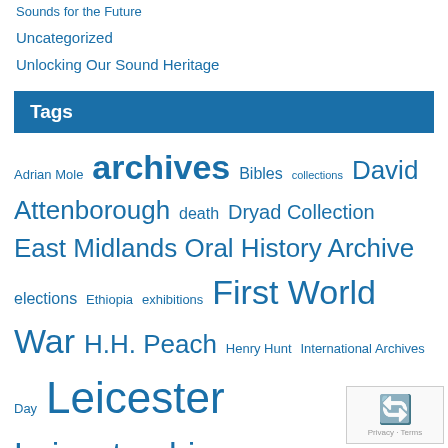Sounds for the Future
Uncategorized
Unlocking Our Sound Heritage
Tags
Adrian Mole archives Bibles collections David Attenborough death Dryad Collection East Midlands Oral History Archive elections Ethiopia exhibitions First World War H.H. Peach Henry Hunt International Archives Day Leicester Leicestershire Manuscripts Medicine museum studies nineteenth century Oral History Peterloo PhD research Photographs politics poll books rare books records management Robjohns Special Collections Online Sue Townsend The Wyvern Thomas Dolby University Archive University Archives University centenary University College Leicester University history University Library